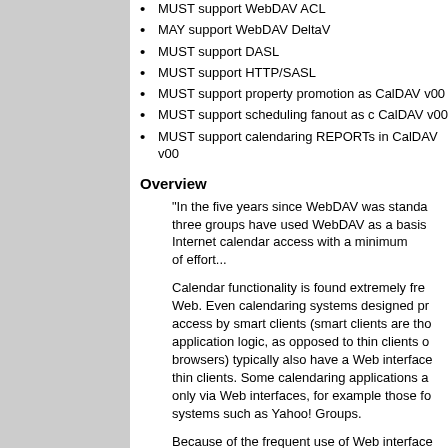MUST support WebDAV ACL
MAY support WebDAV DeltaV
MUST support DASL
MUST support HTTP/SASL
MUST support property promotion as CalDAV v00
MUST support scheduling fanout as CalDAV v00
MUST support calendaring REPORTs in CalDAV v00
Overview
"In the five years since WebDAV was standa three groups have used WebDAV as a basis Internet calendar access with a minimum of effort...
Calendar functionality is found extremely fre Web. Even calendaring systems designed pr access by smart clients (smart clients are tho application logic, as opposed to thin clients o browsers) typically also have a Web interface thin clients. Some calendaring applications a only via Web interfaces, for example those fo systems such as Yahoo! Groups.
Because of the frequent use of Web interface possibility of supporting Web services, WebD particularly suitable framework for calendar d